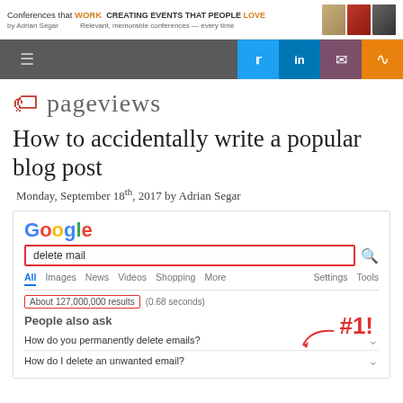Conferences that WORK CREATING EVENTS THAT PEOPLE LOVE by Adrian Segar Relevant, memorable conferences — every time
[Figure (screenshot): Navigation bar with hamburger menu, Twitter, LinkedIn, email, and RSS social icons]
pageviews
How to accidentally write a popular blog post
Monday, September 18th, 2017 by Adrian Segar
[Figure (screenshot): Google search screenshot showing search for 'delete mail' with About 127,000,000 results, People also ask section, and #1! annotation in red]